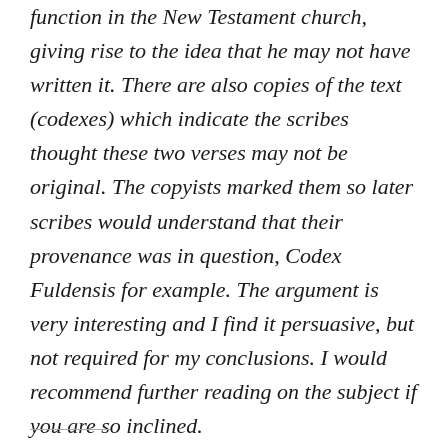function in the New Testament church, giving rise to the idea that he may not have written it. There are also copies of the text (codexes) which indicate the scribes thought these two verses may not be original. The copyists marked them so later scribes would understand that their provenance was in question, Codex Fuldensis for example. The argument is very interesting and I find it persuasive, but not required for my conclusions. I would recommend further reading on the subject if you are so inclined.